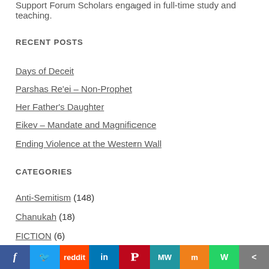Support Forum Scholars engaged in full-time study and teaching.
RECENT POSTS
Days of Deceit
Parshas Re'ei – Non-Prophet
Her Father's Daughter
Eikev – Mandate and Magnificence
Ending Violence at the Western Wall
CATEGORIES
Anti-Semitism (148)
Chanukah (18)
FICTION (6)
Holidays (111)